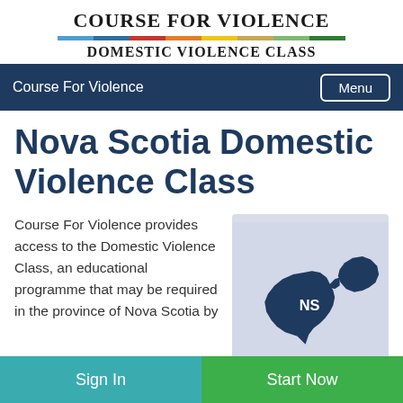Course For Violence
Domestic Violence Class
Course For Violence  Menu
Nova Scotia Domestic Violence Class
Course For Violence provides access to the Domestic Violence Class, an educational programme that may be required in the province of Nova Scotia by
[Figure (map): Map of Nova Scotia province labeled 'NS' in dark navy blue on a light blue-grey background]
Sign In
Start Now